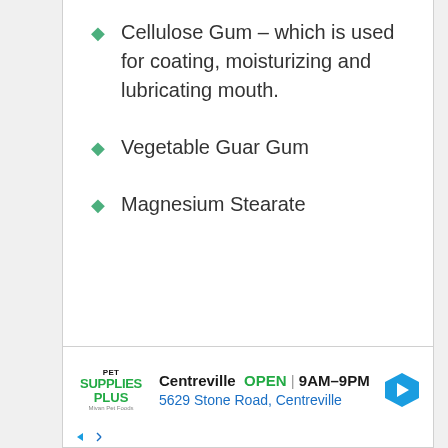Cellulose Gum – which is used for coating, moisturizing and lubricating mouth.
Vegetable Guar Gum
Magnesium Stearate
[Figure (infographic): Advertisement banner for Pet Supplies Plus store in Centreville. Shows logo, store hours OPEN 9AM-9PM, address 5629 Stone Road, Centreville, and a navigation arrow icon.]